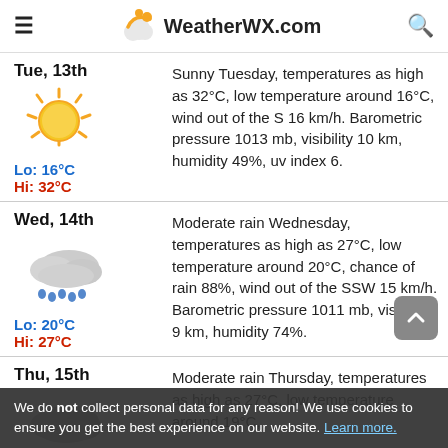WeatherWX.com
Tue, 13th — Sunny Tuesday, temperatures as high as 32°C, low temperature around 16°C, wind out of the S 16 km/h. Barometric pressure 1013 mb, visibility 10 km, humidity 49%, uv index 6. Lo: 16°C Hi: 32°C
Wed, 14th — Moderate rain Wednesday, temperatures as high as 27°C, low temperature around 20°C, chance of rain 88%, wind out of the SSW 15 km/h. Barometric pressure 1011 mb, visibility 9 km, humidity 74%. Lo: 20°C Hi: 27°C
Thu, 15th — Moderate rain Thursday, temperatures as high as 27°C, low temperature around 19°C, chance of rain 77%, wind out of the WSW
We do not collect personal data for any reason! We use cookies to ensure you get the best experience on our website. Learn more.